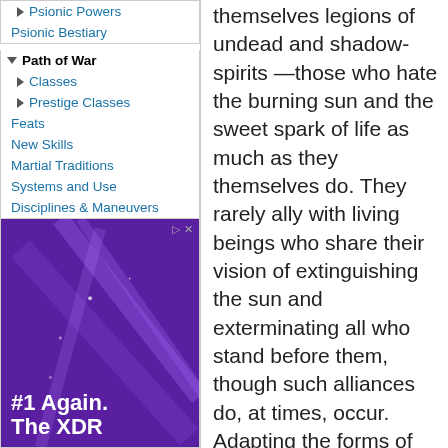Psionic Powers
Psionic Bestiary
Path of War
Classes
Prestige Classes
Feats
New Skills
Martial Traditions
Systems and Use
Disciplines & Maneuvers
[Figure (photo): Advertisement with purple background and white diagonal light streaks, text reading '#1 Again. The XDR']
themselves legions of undead and shadow-spirits —those who hate the burning sun and the sweet spark of life as much as they themselves do. They rarely ally with living beings who share their vision of extinguishing the sun and exterminating all who stand before them, though such alliances do, at times, occur. Adapting the forms of their kind to pursue the cause of death in every environment and situation, upon the land, in the sky and the sea, and even in the deep places of the world beneath, nightshades marshal their unliving armies. Yet for all their singleness of purpose, they are no mindless beasts. They are clever and patient